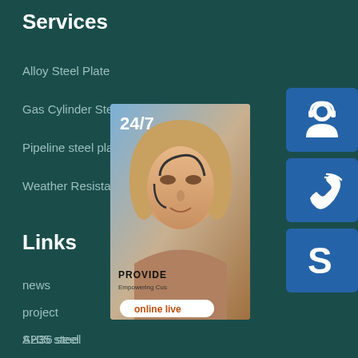Services
Alloy Steel Plate
Gas Cylinder Steel coil
Pipeline steel plate
Weather Resistant Steel Plate
[Figure (infographic): Customer service widget showing a woman with headset, '24/7' text, 'PROVIDE' and 'Empowering Customers' text, 'online live' button, and three blue icon buttons: headset icon, phone icon, Skype icon]
Links
news
project
S235 steel
AH36 steel